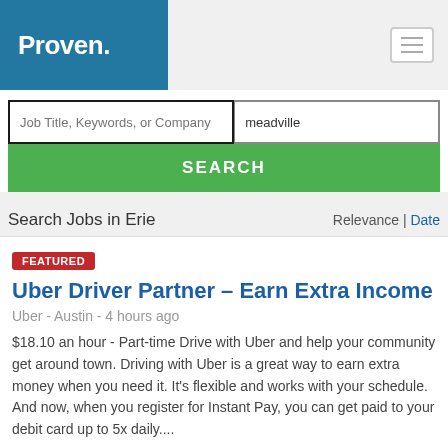Proven.
Job Title, Keywords, or Company
meadville
SEARCH
Search Jobs in Erie
Relevance | Date
FEATURED
Uber Driver Partner – Earn Extra Income
Uber - Austin - 4 hours ago
$18.10 an hour - Part-time Drive with Uber and help your community get around town. Driving with Uber is a great way to earn extra money when you need it. It's flexible and works with your schedule. And now, when you register for Instant Pay, you can get paid to your debit card up to 5x daily....
FEATURED
Handyman / woman / Greater Pittsburgh Area